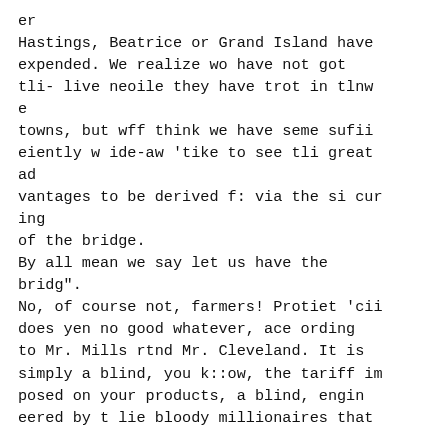er
Hastings, Beatrice or Grand Island have expended. We realize wo have not got tli- live neoile they have trot in tlnw e
towns, but wff think we have seme sufii eiently w ide-aw 'tike to see tli great ad
vantages to be derived f: via the si cur ing
of the bridge.
By all mean we say let us have the bridg".
No, of course not, farmers! Protiet 'cii does yen no good whatever, ace ording to Mr. Mills rtnd Mr. Cleveland. It is simply a blind, you k::ow, the tariff im posed on your products, a blind, engin eered by t lie bloody millionaires that